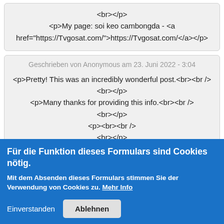<br></p>
<p>My page: soi keo cambongda - <a href="https://Tvgosat.com/">https://Tvgosat.com/</a></p>
Geschrieben von Anonymous am 23. Juni 2022 - 3:04
<p>Pretty! This was an incredibly wonderful post.<br><br />
<br></p>
<p>Many thanks for providing this info.<br><br />
<br></p>
<p><br><br />
<br></p>
<p>Have a look at my homepage; 12play (
ensolarrbet.Edublogs.Org - <a
Für die Funktion dieses Formulars sind Cookies nötig.
Mit dem Absenden dieses Formulars stimmen Sie der Verwendung von Cookies zu. Mehr Info
Einverstanden  Ablehnen